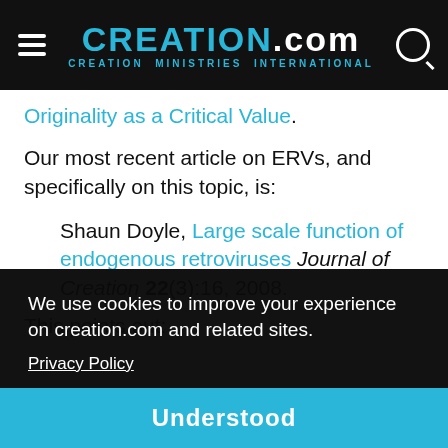CREATION.com — CREATION MINISTRIES INTERNATIONAL
Originality as a Critical Value.
Our most recent article on ERVs, and specifically on this topic, is:
Shaun Doyle, Large scale function of endogenous retroviruses Journal of Creation 22(3):16, 2008.
This points out:
We use cookies to improve your experience on creation.com and related sites.
Privacy Policy
Understood
RNA transcripts to be formed from the same DNA